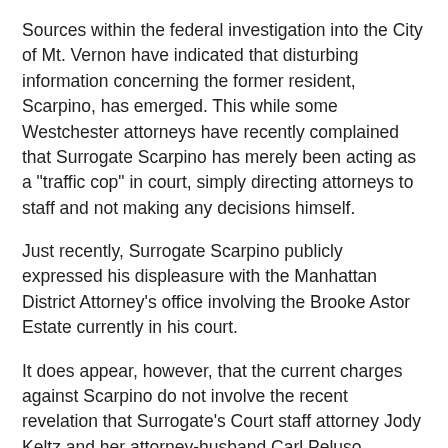Sources within the federal investigation into the City of Mt. Vernon have indicated that disturbing information concerning the former resident, Scarpino, has emerged. This while some Westchester attorneys have recently complained that Surrogate Scarpino has merely been acting as a "traffic cop" in court, simply directing attorneys to staff and not making any decisions himself.
Just recently, Surrogate Scarpino publicly expressed his displeasure with the Manhattan District Attorney's office involving the Brooke Astor Estate currently in his court.
It does appear, however, that the current charges against Scarpino do not involve the recent revelation that Surrogate's Court staff attorney Jody Keltz and her attorney-husband Carl Peluso somehow managed to move into a nice Scarsdale home from a estate once handled by Ms. Keltz. While current inquiries exist into the alleged unseemly appointment of guardians and real estate transactions under Scarpino's tenure, the questionable and highly unusual Keltz real estate matter occurred under Surrogate Scarpino's predecessor, Judge Albert Emanuelli.